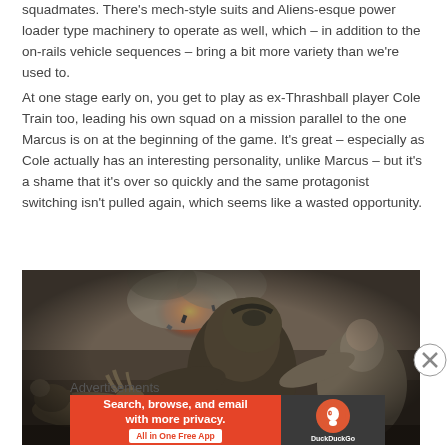squadmates. There's mech-style suits and Aliens-esque power loader type machinery to operate as well, which – in addition to the on-rails vehicle sequences – bring a bit more variety than we're used to.
At one stage early on, you get to play as ex-Thrashball player Cole Train too, leading his own squad on a mission parallel to the one Marcus is on at the beginning of the game. It's great – especially as Cole actually has an interesting personality, unlike Marcus – but it's a shame that it's over so quickly and the same protagonist switching isn't pulled again, which seems like a wasted opportunity.
[Figure (photo): Screenshot from a video game showing a large armored creature fighting a human soldier, with an explosion in the background. Another soldier is on the ground in the foreground.]
Advertisements
[Figure (screenshot): DuckDuckGo advertisement banner: 'Search, browse, and email with more privacy. All in One Free App' with DuckDuckGo logo on the right on dark background.]